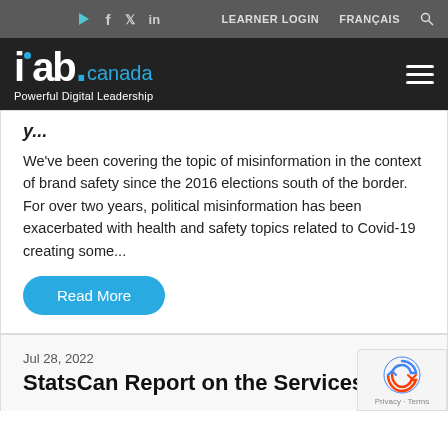IAB Canada – Powerful Digital Leadership | LEARNER LOGIN | FRANÇAIS
[Figure (logo): IAB Canada logo with tagline 'Powerful Digital Leadership' on dark background]
We've been covering the topic of misinformation in the context of brand safety since the 2016 elections south of the border. For over two years, political misinformation has been exacerbated with health and safety topics related to Covid-19 creating some...
Read More
Jul 28, 2022
StatsCan Report on the Services